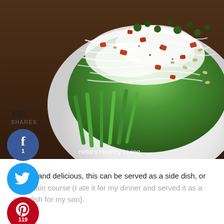[Figure (photo): Close-up photo of a pasta dish with asparagus, green beans, bacon pieces, pine nuts, and grated parmesan cheese on a white plate, on a dark wooden surface. Social sharing buttons (Facebook 1, Twitter, Pinterest 119, Yummly) visible on the left side over the image. Share count shows 120. Watermark text 'nette's Healthy Living' at bottom of image.]
Simple and delicious, this can be served as a side dish, or as a main course (I ate it for my dinner and served it as a side dish for my son).